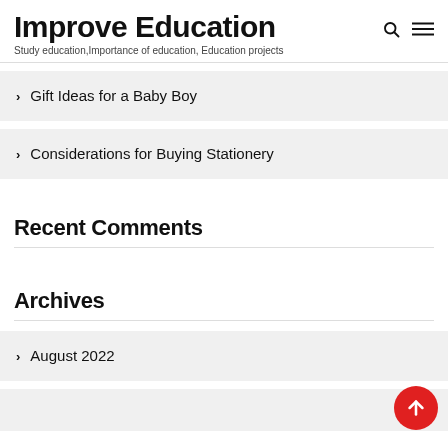Improve Education
Study education,Importance of education, Education projects
Gift Ideas for a Baby Boy
Considerations for Buying Stationery
Recent Comments
Archives
August 2022